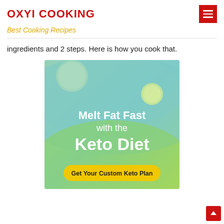OXYI COOKING
Best Cooking Recipes
ingredients and 2 steps. Here is how you cook that.
[Figure (illustration): Advertisement banner for Keto Diet plan. Green and teal gradient background with decorative circles. White text reads 'Melt Fat Fast with the Keto Diet'. Yellow pill-shaped button reads 'Get Your Custom Keto Plan'.]